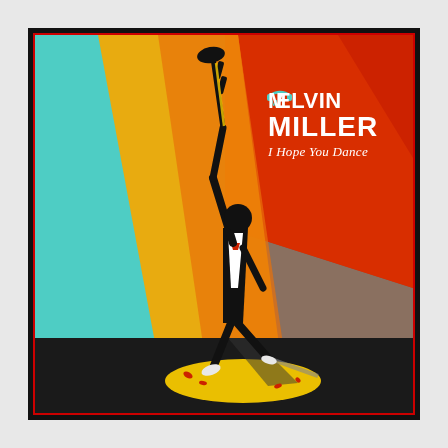[Figure (illustration): Album cover for Melvin Miller 'I Hope You Dance'. Features a stylized silhouette of a jazz musician playing trumpet, leaning back dramatically, standing in a spotlight on a dark stage. The background has bold color blocks: teal/cyan on the left, orange-yellow spotlight beam in the center-left, red in the upper center-right, and dark brownish-gray on the right. The spotlight creates a yellow ellipse on the dark stage floor. The musician figure is primarily black with a white jacket front and red details. A large yellow beam of light emanates from upper-left. Text reads 'MELVIN MILLER' in large bold white/gray letters with a cyan stylized M logo incorporating what looks like headphones. Below: 'I Hope You Dance' in white italic text.]